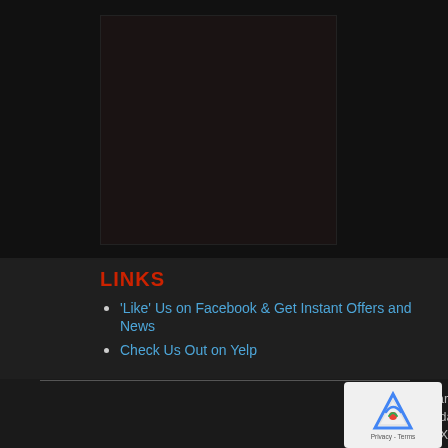[Figure (photo): Dark background image area, appears to be a gym or dark themed image]
LINKS
'Like' Us on Facebook & Get Instant Offers and News
Check Us Out on Yelp
Hyde Park Gym
4125 Guadalupe St.
Austin, TX, 78751
Monday-Friday 5am–10pm | Saturday 7-7 | Sunday 8-7
© Hyde Park Gym